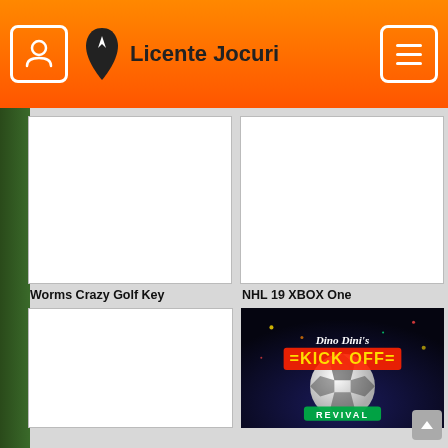Licente Jocuri
[Figure (screenshot): White blank product image card 1 (top left)]
[Figure (screenshot): White blank product image card 2 (top right)]
Worms Crazy Golf Key
NHL 19 XBOX One
[Figure (screenshot): White blank product image card for Worms Crazy Golf Key]
[Figure (photo): Dino Dini's Kick Off Revival game cover image with soccer ball and colorful text]